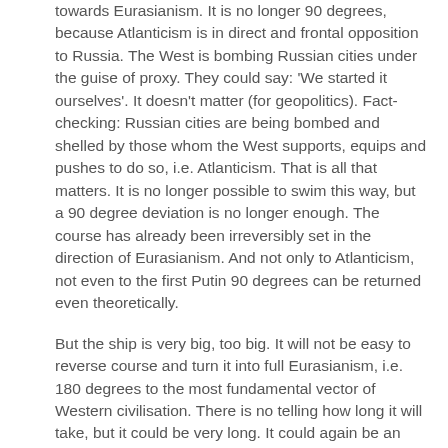towards Eurasianism. It is no longer 90 degrees, because Atlanticism is in direct and frontal opposition to Russia. The West is bombing Russian cities under the guise of proxy. They could say: 'We started it ourselves'. It doesn't matter (for geopolitics). Fact-checking: Russian cities are being bombed and shelled by those whom the West supports, equips and pushes to do so, i.e. Atlanticism. That is all that matters. It is no longer possible to swim this way, but a 90 degree deviation is no longer enough. The course has already been irreversibly set in the direction of Eurasianism. And not only to Atlanticism, not even to the first Putin 90 degrees can be returned even theoretically.
But the ship is very big, too big. It will not be easy to reverse course and turn it into full Eurasianism, i.e. 180 degrees to the most fundamental vector of Western civilisation. There is no telling how long it will take, but it could be very long. It could again be an idiotic attempt. Unpredictable. The timing is, in a way, arbitrary. The gigantic size of the ship may be an argument in favour of taking as long as possible. But do it anyway, because you can't not do it. 90 degrees to the West is already completely unacceptable, just as the purely Western path of Russian liberals in the 1990s is unacceptable.
Here, however, is the most important aspect: the SMO has set a new inertia, it has given impetus to a new historical trajectory. Russia has moved in a different direction since the 2000s than the half-empty/full glass